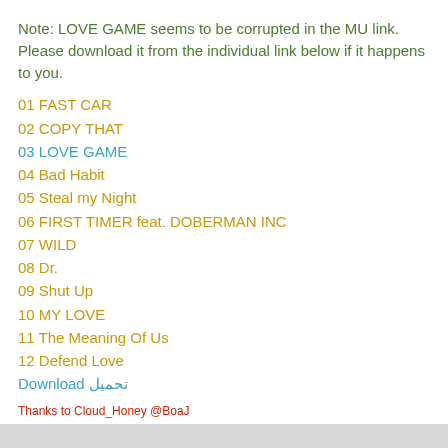Note: LOVE GAME seems to be corrupted in the MU link. Please download it from the individual link below if it happens to you.
01 FAST CAR
02 COPY THAT
03 LOVE GAME
04 Bad Habit
05 Steal my Night
06 FIRST TIMER feat. DOBERMAN INC
07 WILD
08 Dr.
09 Shut Up
10 MY LOVE
11 The Meaning Of Us
12 Defend Love
Download تحميل
Thanks to Cloud_Honey @BoaJ